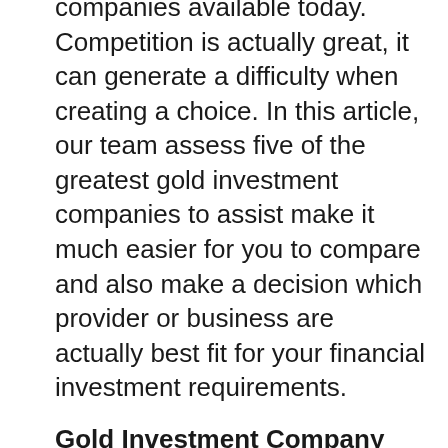There are numerous gold investment companies available today. Competition is actually great, it can generate a difficulty when creating a choice. In this article, our team assess five of the greatest gold investment companies to assist make it much easier for you to compare and also make a decision which provider or business are actually best fit for your financial investment requirements.
Gold Investment Company Reviews# 1. Goldco
Ranking: 9.9
Check Website Here
# 2. Augusta Priceless Metals
Score 9.4
Check Website Here